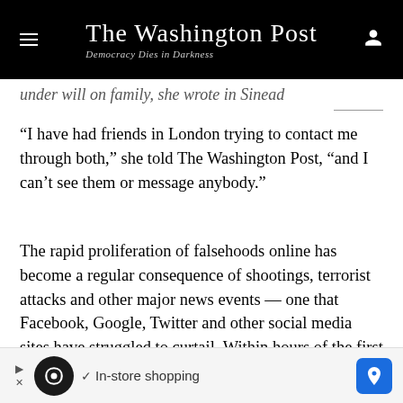The Washington Post — Democracy Dies in Darkness
under will on family, she wrote in Sinead
“I have had friends in London trying to contact me through both,” she told The Washington Post, “and I can’t see them or message anybody.”
The rapid proliferation of falsehoods online has become a regular consequence of shootings, terrorist attacks and other major news events — one that Facebook, Google, Twitter and other social media sites have struggled to curtail. Within hours of the first bombings Sunday morning, researchers said they saw a spike in false reports about the perpetrators and the